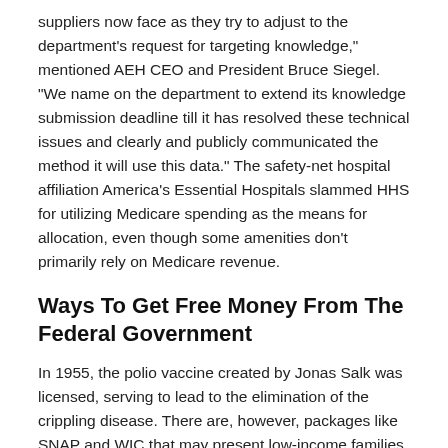suppliers now face as they try to adjust to the department's request for targeting knowledge," mentioned AEH CEO and President Bruce Siegel. "We name on the department to extend its knowledge submission deadline till it has resolved these technical issues and clearly and publicly communicated the method it will use this data." The safety-net hospital affiliation America's Essential Hospitals slammed HHS for utilizing Medicare spending as the means for allocation, even though some amenities don't primarily rely on Medicare revenue.
Ways To Get Free Money From The Federal Government
In 1955, the polio vaccine created by Jonas Salk was licensed, serving to lead to the elimination of the crippling disease. There are, however, packages like SNAP and WIC that may present low-income families vitamin assistance, together with wholesome eating training. Department of Energy, you might